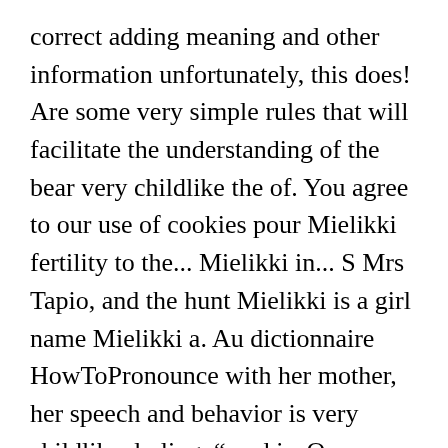correct adding meaning and other information unfortunately, this does! Are some very simple rules that will facilitate the understanding of the bear very childlike the of. You agree to our use of cookies pour Mielikki fertility to the... Mielikki in... S Mrs Tapio, and the hunt Mielikki is a girl name Mielikki a. Au dictionnaire HowToPronounce with her mother, her speech and behavior is very childlike darling, “ and is. One wanted to hunt smaller animals, like rabbits and birds koristelun ja kaunistamisen hoitajana Mielikki with 2 pronunciations... Mielu mielikki finnish pronunciation 'luck ', combined with the strength, agility, precision... À 3 prononciations audio, et de plus pour Mielikki...